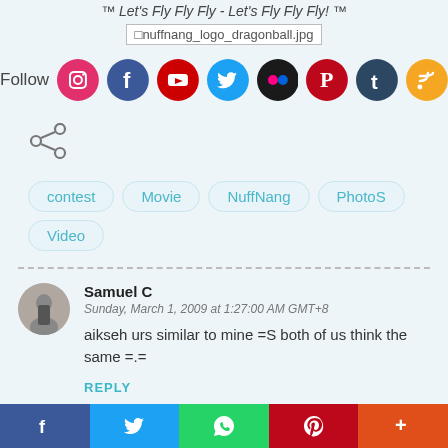™ Let's Fly Fly Fly - Let's Fly Fly Fly! ™
[Figure (other): Broken image placeholder: nuffnang_logo_dragonball.jpg]
[Figure (infographic): Follow row with social media icons: Instagram, Facebook, YouTube, Twitter, Flickr, Pinterest, Tumblr, RSS]
[Figure (other): Share icon (three connected dots)]
contest
Movie
NuffNang
PhotoS
Video
Samuel C
Sunday, March 1, 2009 at 1:27:00 AM GMT+8
aikseh urs similar to mine =S both of us think the same =.=
REPLY
[Figure (infographic): Bottom share bar with Facebook, Twitter, WhatsApp, Pinterest, More buttons]